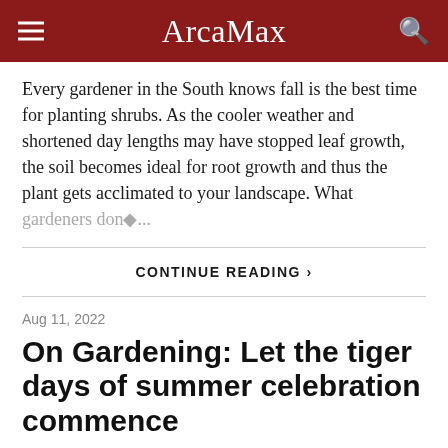ArcaMax
Every gardener in the South knows fall is the best time for planting shrubs. As the cooler weather and shortened day lengths may have stopped leaf growth, the soil becomes ideal for root growth and thus the plant gets acclimated to your landscape. What gardeners don◆...
CONTINUE READING ›
Aug 11, 2022
On Gardening: Let the tiger days of summer celebration commence
Today I am here to say, let's give up the dog days and